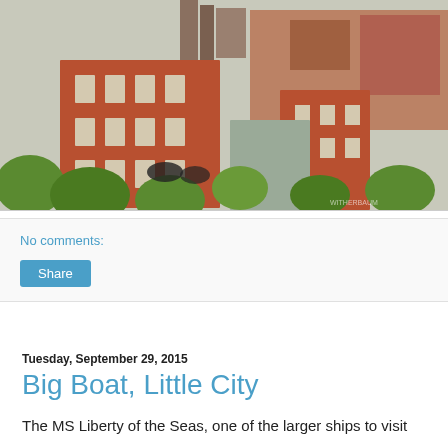[Figure (photo): Aerial/elevated view of a city neighborhood with red brick buildings, trees with green foliage, rooftops, and industrial elements in the background. A large multi-story brick building is prominent in the center.]
No comments:
Share
Tuesday, September 29, 2015
Big Boat, Little City
The MS Liberty of the Seas, one of the larger ships to visit